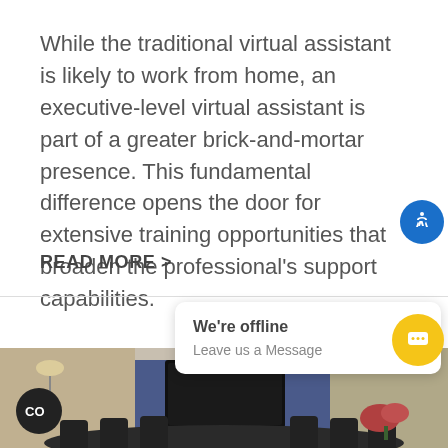While the traditional virtual assistant is likely to work from home, an executive-level virtual assistant is part of a greater brick-and-mortar presence. This fundamental difference opens the door for extensive training opportunities that broaden the professional's support capabilities.
READ MORE >
[Figure (screenshot): Chat widget popup showing 'We're offline' and 'Leave us a Message' with a yellow chat bubble button]
[Figure (photo): Photo of a conference room with blue wall, mounted TV screen, chairs around a table, and a flower arrangement]